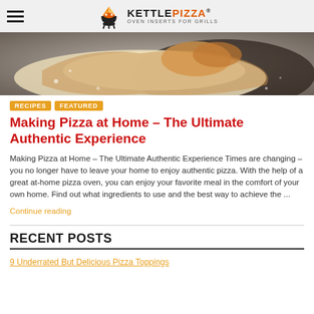KETTLEPIZZA® OVEN INSERTS FOR GRILLS
[Figure (photo): Close-up photo of pizza dough on a dark surface with flour and toppings visible]
RECIPES  FEATURED
Making Pizza at Home – The Ultimate Authentic Experience
Making Pizza at Home – The Ultimate Authentic Experience Times are changing – you no longer have to leave your home to enjoy authentic pizza. With the help of a great at-home pizza oven, you can enjoy your favorite meal in the comfort of your own home. Find out what ingredients to use and the best way to achieve the ...
Continue reading
RECENT POSTS
9 Underrated But Delicious Pizza Toppings